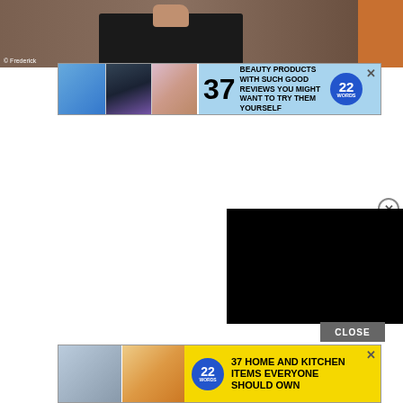[Figure (photo): Person in dark jacket photographed indoors, partial view with orange background on right edge. Photo credit: © Frederick (truncated)]
[Figure (screenshot): Advertisement banner: '37 BEAUTY PRODUCTS WITH SUCH GOOD REVIEWS YOU MIGHT WANT TO TRY THEM YOURSELF' with 22 Words badge and product images, close X button top right]
[Figure (screenshot): Black video player rectangle overlaid on right side of page with close circle X button above it and CLOSE button below]
[Figure (screenshot): Advertisement banner on yellow background: '37 HOME AND KITCHEN ITEMS EVERYONE SHOULD OWN' with 22 Words badge and food/kitchenware images, close X button top right]